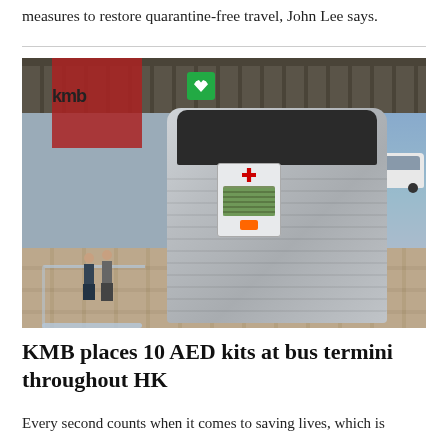measures to restore quarantine-free travel, John Lee says.
[Figure (photo): Photo of a large silver AED (Automated External Defibrillator) kiosk/machine mounted at a covered bus terminus. The machine is tall and silver-grey with horizontal ridges, with a mounted AED unit and a green AED sign on top. The background shows a covered walkway with a red storefront displaying 'kmb', a railing, and an outdoor area with a van visible to the right. Two people are visible on the left side.]
KMB places 10 AED kits at bus termini throughout HK
Every second counts when it comes to saving lives, which is